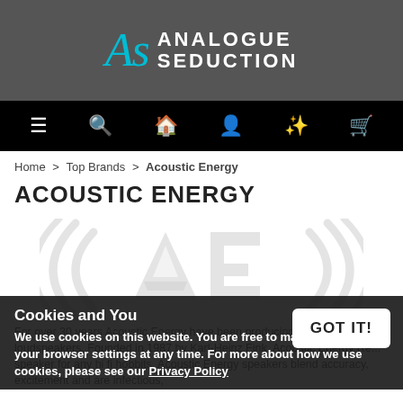[Figure (logo): Analogue Seduction logo with stylized 'AS' in cyan and white bold text on dark grey background]
[Figure (other): Navigation bar with menu, search, home, account, wishlist, and cart icons on black background]
Home > Top Brands > Acoustic Energy
ACOUSTIC ENERGY
[Figure (logo): Acoustic Energy brand logo: large stylised 'AE' letters with sound wave brackets, light grey watermark style]
Cookies and You
We use cookies on this website. You are free to manage these via your browser settings at any time. For more about how we use cookies, please see our Privacy Policy
For over 30 years Acoustic Energy have been producing world class loudspeakers. Founded in 1987 by Karl-Heinz Fink, Acoustic Energy Re... speaker for any hi fi hobbits. Acoustic Energy speakers blend accuracy, excitement and are infectious,